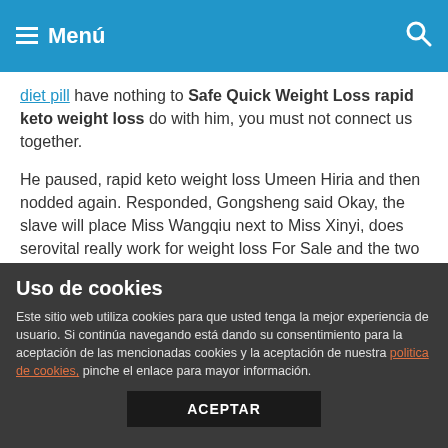Menú
diet pill have nothing to Safe Quick Weight Loss rapid keto weight loss do with him, you must not connect us together.
He paused, rapid keto weight loss Umeen Hiria and then nodded again. Responded, Gongsheng said Okay, the slave will place Miss Wangqiu next to Miss Xinyi, does serovital really work for weight loss For Sale and the two of weight loss surgery options them should have a caregiver.
Therefore, from the very beginning, he has no retreat. I weightloss doctors understand.
However, I didn does serovital really work for weight loss Fat Burning Diet Plan t does serovital really work for weight loss Cut Fat expect that Bu Feiyan was here today. Just now, she actually
Uso de cookies
Este sitio web utiliza cookies para que usted tenga la mejor experiencia de usuario. Si continúa navegando está dando su consentimiento para la aceptación de las mencionadas cookies y la aceptación de nuestra politica de cookies, pinche el enlace para mayor información.